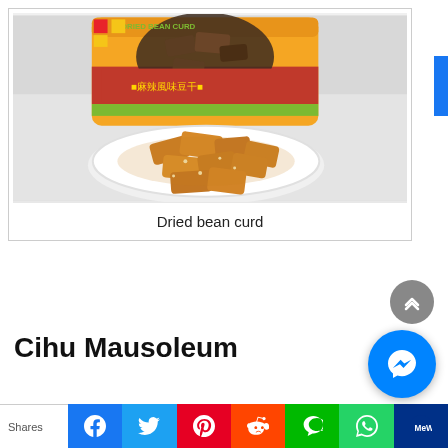[Figure (photo): Photo of dried bean curd: a yellow-orange package of dried bean curd in the background, and a white plate piled with golden-brown dried bean curd pieces in the foreground, on a light grey surface.]
Dried bean curd
Cihu Mausoleum
Shares | Facebook | Twitter | Pinterest | Reddit | LINE | WhatsApp | MeWe